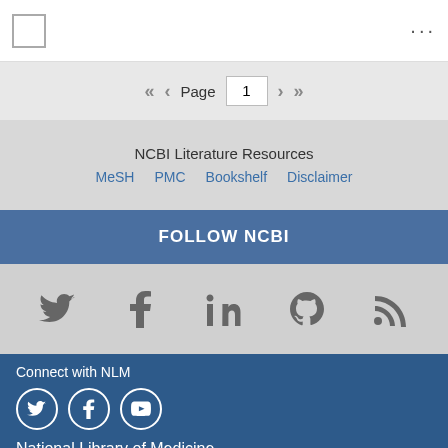Page 1
NCBI Literature Resources
MeSH
PMC
Bookshelf
Disclaimer
FOLLOW NCBI
[Figure (infographic): Social media icons row: Twitter, Facebook, LinkedIn, GitHub, RSS]
Connect with NLM
[Figure (infographic): NLM social media icons: Twitter, Facebook, YouTube circles]
National Library of Medicine